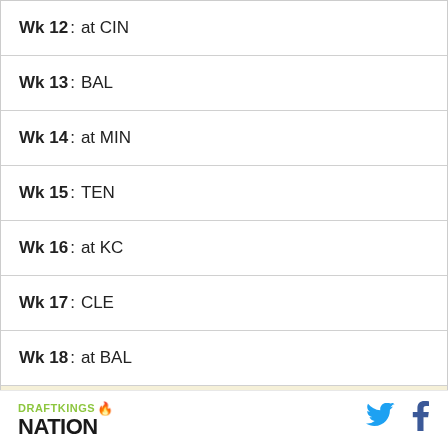Wk 12 : at CIN
Wk 13 : BAL
Wk 14 : at MIN
Wk 15 : TEN
Wk 16 : at KC
Wk 17 : CLE
Wk 18 : at BAL
Team : SEA
Wk 1 : at IND
Wk 2 : TEN
DRAFTKINGS NATION